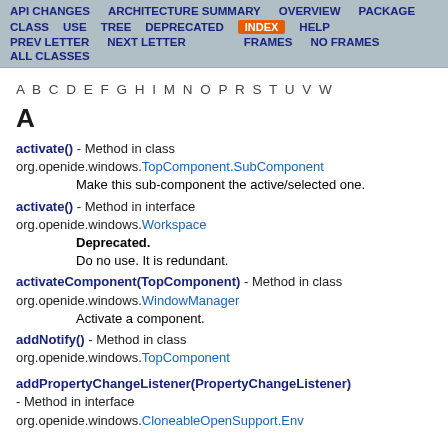API CHANGES   ARCHITECTURE SUMMARY   OVERVIEW   PACKAGE
CLASS   USE   TREE   DEPRECATED   INDEX   HELP
PREV LETTER   NEXT LETTER   FRAMES   NO FRAMES
ALL CLASSES
A B C D E F G H I M N O P R S T U V W
A
activate() - Method in class org.openide.windows.TopComponent.SubComponent
    Make this sub-component the active/selected one.
activate() - Method in interface org.openide.windows.Workspace
    Deprecated.
    Do no use. It is redundant.
activateComponent(TopComponent) - Method in class org.openide.windows.WindowManager
    Activate a component.
addNotify() - Method in class org.openide.windows.TopComponent
addPropertyChangeListener(PropertyChangeListener) - Method in interface org.openide.windows.CloneableOpenSupport.Env